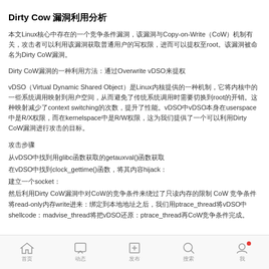Dirty Cow 漏洞利用分析
本文Linux核心中存在的一个竞争条件漏洞，该漏洞与Copy-on-Write（CoW）机制有关，攻击者可以利用该漏洞获取普通用户的写权限，进而可以提权至root。该漏洞被命名为Dirty CoW漏洞。
Dirty CoW漏洞的一种利用方法：通过Overwrite vDSO来提权
vDSO（Virtual Dynamic Shared Object）是Linux内核提供的一种机制，它将内核中的一些系统调用映射到用户空间，从而避免了传统系统调用时需要切换到root的开销。这种映射减少了context switching的次数，提升了性能。vDSO中vDSO本身在userspace中是R/X权限，而在kernelspace中是R/W权限，这为我们提供了一个可以利用Dirty CoW漏洞进行攻击的目标。
攻击步骤
从vDSO中找到用glibc函数获取的getauxval()函数获取
在vDSO中找到clock_gettime()函数，将其内容hijack：
建立一个socket：
然后利用Dirty CoW漏洞中对CoW的竞争条件来绕过了只读内存的限制 CoW 竞争条件将read-only内存write进来：绑定到本地地址之后，我们用ptrace_thread将vDSO中shellcode：madvise_thread将把vDSO还原：ptrace_thread再CoW竞争条件完成。